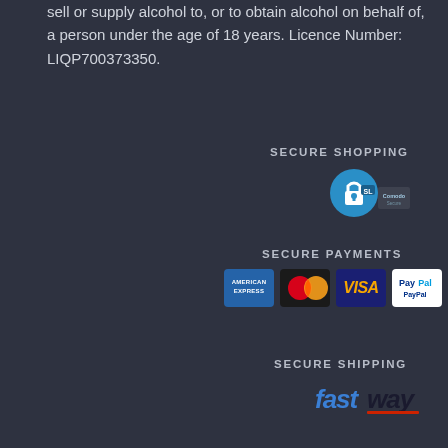sell or supply alcohol to, or to obtain alcohol on behalf of, a person under the age of 18 years. Licence Number: LIQP700373350.
SECURE SHOPPING
[Figure (logo): Secure shopping SSL badge with padlock icon and 'Comodo Secure' text]
SECURE PAYMENTS
[Figure (logo): Payment icons: American Express, Mastercard, Visa, PayPal]
SECURE SHIPPING
[Figure (logo): Fastway courier logo in blue and red with italic font]